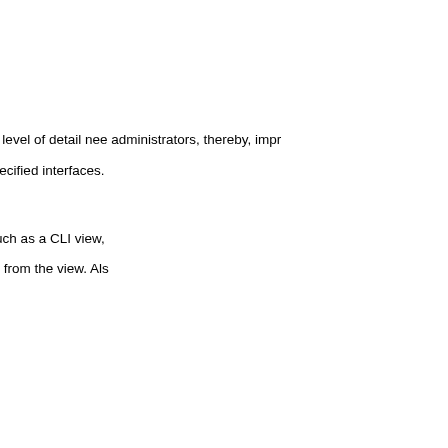Root View
View Authentication via a
Benefits of Using CLI V
Views: Detailed Access Cont
Although users can control C necessary level of detail nee administrators, thereby, impr
As of Cisco IOS Release 12. basis of specified interfaces.
Root View
When a system is in "root vie system (such as a CLI view,
The difference between a us commands from the view. Als
View Authentication via
View authentication is perfor
AAA authentication associate
How to Use Role-B
This section contains the foll